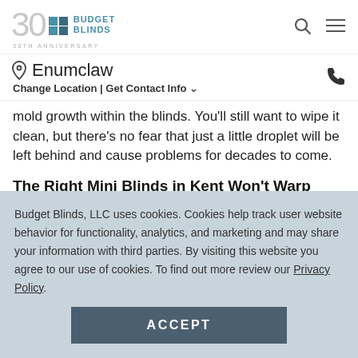Budget Blinds 30th Anniversary — Enumclaw — Change Location | Get Contact Info
mold growth within the blinds. You'll still want to wipe it clean, but there's no fear that just a little droplet will be left behind and cause problems for decades to come.
The Right Mini Blinds in Kent Won't Warp
On top of that, faux wood and metal mini blinds are excellent for protecting against heat damage. The bathroom tends to be hot at some points of the day
Budget Blinds, LLC uses cookies. Cookies help track user website behavior for functionality, analytics, and marketing and may share your information with third parties. By visiting this website you agree to our use of cookies. To find out more review our Privacy Policy.